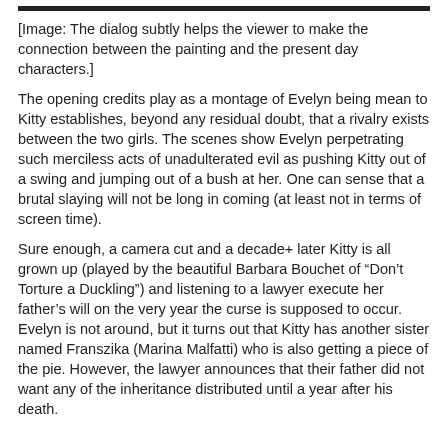[Image: The dialog subtly helps the viewer to make the connection between the painting and the present day characters.]
The opening credits play as a montage of Evelyn being mean to Kitty establishes, beyond any residual doubt, that a rivalry exists between the two girls. The scenes show Evelyn perpetrating such merciless acts of unadulterated evil as pushing Kitty out of a swing and jumping out of a bush at her. One can sense that a brutal slaying will not be long in coming (at least not in terms of screen time).
Sure enough, a camera cut and a decade+ later Kitty is all grown up (played by the beautiful Barbara Bouchet of “Don’t Torture a Duckling”) and listening to a lawyer execute her father’s will on the very year the curse is supposed to occur. Evelyn is not around, but it turns out that Kitty has another sister named Franszika (Marina Malfatti) who is also getting a piece of the pie. However, the lawyer announces that their father did not want any of the inheritance distributed until a year after his death.